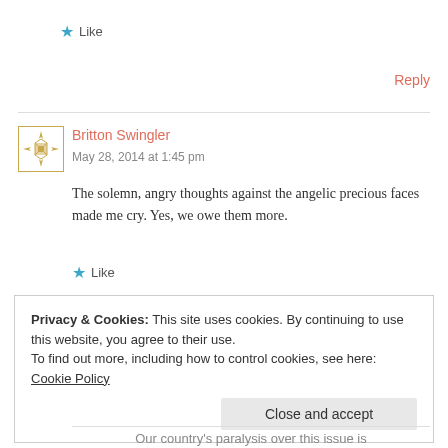★ Like
Reply
Britton Swingler
May 28, 2014 at 1:45 pm
The solemn, angry thoughts against the angelic precious faces made me cry. Yes, we owe them more.
★ Like
Privacy & Cookies: This site uses cookies. By continuing to use this website, you agree to their use. To find out more, including how to control cookies, see here: Cookie Policy
Close and accept
Our country's paralysis over this issue is